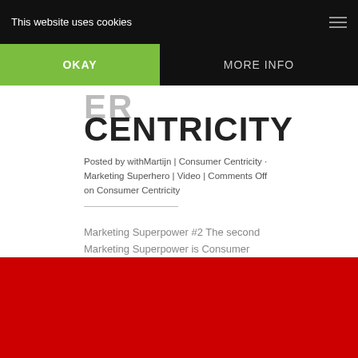This website uses cookies
OKAY
MORE INFO
CENTRICITY
Posted by withMartijn | Consumer Centricity · Marketing Superhero | Video | Comments Off on Consumer Centricity
Marketing Superpower #2 The second Marketing Superpower is Consumer Centricity. Putting yourself in the shoes of your customer to better understand what they need.
[Figure (other): Red background area at bottom of page]